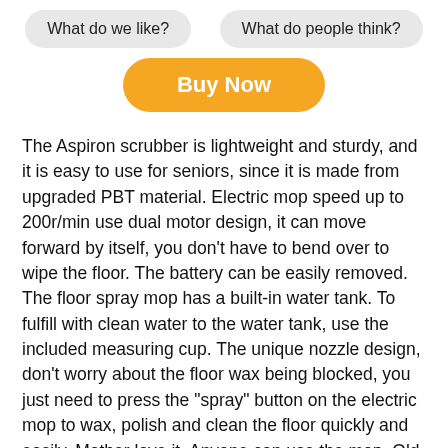What do we like?  What do people think?
Buy Now
The Aspiron scrubber is lightweight and sturdy, and it is easy to use for seniors, since it is made from upgraded PBT material. Electric mop speed up to 200r/min use dual motor design, it can move forward by itself, you don't have to bend over to wipe the floor. The battery can be easily removed. The floor spray mop has a built-in water tank. To fulfill with clean water to the water tank, use the included measuring cup. The unique nozzle design, don't worry about the floor wax being blocked, you just need to press the "spray" button on the electric mop to wax, polish and clean the floor quickly and easily. Mother love it. Anyone can use the mop. Old age or back pain is making traditional mop use more difficult. This mop is easy to clean. You just need to control the way forward, it can do hard work for you mother. TheTelescopic Rod is a Led Headlight. It is easier to find dust under furniture if you have headlights. The weight is about 6.6 pounds and the height can be adjusted to 36 to 45 inches. Anyone can use the electric mop. The mop can stand on its own.